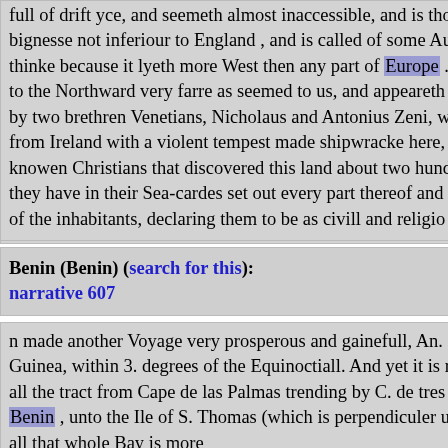full of drift yce, and seemeth almost inaccessible, and is thought to be an Iland in bignesse not inferiour to England , and is called of some Authors, West Frislande, I thinke because it lyeth more West then any part of Europe . It extendeth in latitude to the Northward very farre as seemed to us, and appeareth by a description set out by two brethren Venetians, Nicholaus and Antonius Zeni, who being driven off from Ireland with a violent tempest made shipwracke here, and were the first knowen Christians that discovered this land about two hundred yeares sithence, and they have in their Sea-cardes set out every part thereof and described the condition of the inhabitants, declaring them to be as civill and religio
Benin (Benin) (search for this): narrative 607
n made another Voyage very prosperous and gainefull, An. 1554. to the coasts of Guinea, within 3. degrees of the Equinoctiall. And yet it is reported of a trueth, that all the tract from Cape de las Palmas trending by C. de tres puntas alongst by Benin , unto the Ile of S. Thomas (which is perpendiculer under the Equinoctiall) all that whole Bay is more